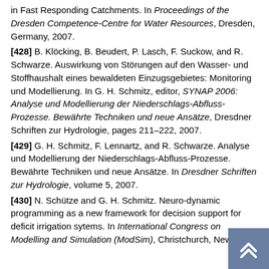in Fast Responding Catchments. In Proceedings of the Dresden Competence-Centre for Water Resources, Dresden, Germany, 2007.
[428] B. Klöcking, B. Beudert, P. Lasch, F. Suckow, and R. Schwarze. Auswirkung von Störungen auf den Wasser- und Stoffhaushalt eines bewaldeten Einzugsgebietes: Monitoring und Modellierung. In G. H. Schmitz, editor, SYNAP 2006: Analyse und Modellierung der Niederschlags-Abfluss-Prozesse. Bewährte Techniken und neue Ansätze, Dresdner Schriften zur Hydrologie, pages 211–222, 2007.
[429] G. H. Schmitz, F. Lennartz, and R. Schwarze. Analyse und Modellierung der Niederschlags-Abfluss-Prozesse. Bewährte Techniken und neue Ansätze. In Dresdner Schriften zur Hydrologie, volume 5, 2007.
[430] N. Schütze and G. H. Schmitz. Neuro-dynamic programming as a new framework for decision support for deficit irrigation sytems. In International Congress on Modelling and Simulation (ModSim), Christchurch, New